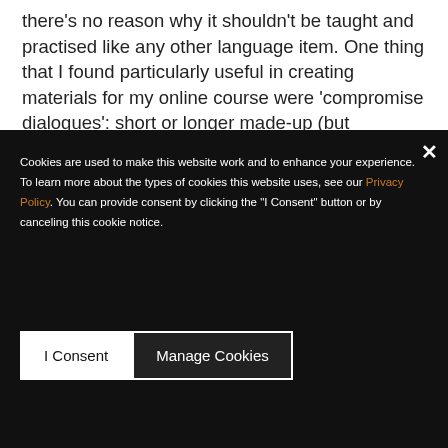there's no reason why it shouldn't be taught and practised like any other language item. One thing that I found particularly useful in creating materials for my online course were 'compromise dialogues': short or longer made-up (but naturalistic) conversations that are
Cookies are used to make this website work and to enhance your experience. To learn more about the types of cookies this website uses, see our Privacy Policy. You can provide consent by clicking the "I Consent" button or by canceling this cookie notice.